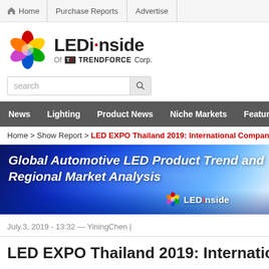Home | Purchase Reports | Advertise
[Figure (logo): LEDinside of TrendForce Corp. logo with colorful flower icon]
search
News | Lighting | Product News | Niche Markets | Features
Home > Show Report > LED EXPO Thailand 2019: International Companies Ac...
[Figure (illustration): Global Automotive LED Product Trend and Regional Market Analysis banner with LEDinside logo]
July.3, 2019 - 13:32 — YiningChen |
LED EXPO Thailand 2019: International